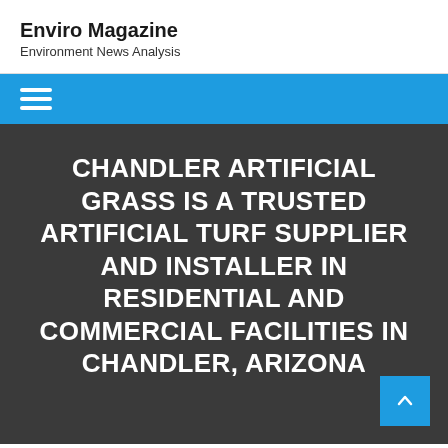Enviro Magazine
Environment News Analysis
[Figure (other): Navigation bar with hamburger menu icon on blue background]
CHANDLER ARTIFICIAL GRASS IS A TRUSTED ARTIFICIAL TURF SUPPLIER AND INSTALLER IN RESIDENTIAL AND COMMERCIAL FACILITIES IN CHANDLER, ARIZONA